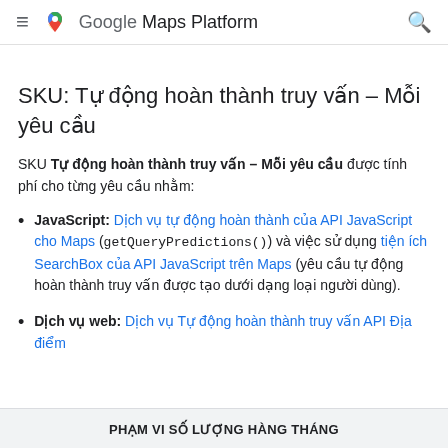Google Maps Platform
SKU: Tự động hoàn thành truy vấn – Mỗi yêu cầu
SKU Tự động hoàn thành truy vấn – Mỗi yêu cầu được tính phí cho từng yêu cầu nhằm:
JavaScript: Dịch vụ tự động hoàn thành của API JavaScript cho Maps (getQueryPredictions()) và việc sử dụng tiện ích SearchBox của API JavaScript trên Maps (yêu cầu tự động hoàn thành truy vấn được tạo dưới dạng loại người dùng).
Dịch vụ web: Dịch vụ Tự động hoàn thành truy vấn API Địa điểm
PHẠM VI SỐ LƯỢNG HÀNG THÁNG